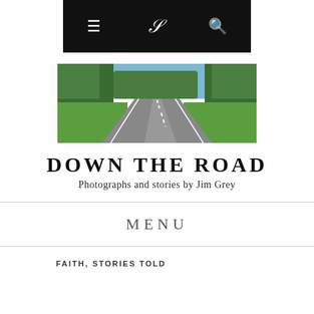Navigation bar with menu, link, and search icons
[Figure (photo): A road stretching into the distance lined with green trees on both sides under a blue sky]
DOWN THE ROAD
Photographs and stories by Jim Grey
MENU
FAITH, STORIES TOLD